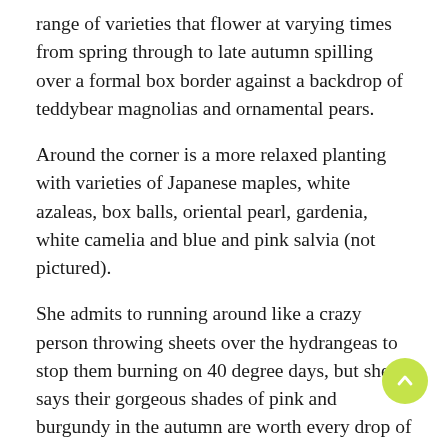range of varieties that flower at varying times from spring through to late autumn spilling over a formal box border against a backdrop of teddybear magnolias and ornamental pears.
Around the corner is a more relaxed planting with varieties of Japanese maples, white azaleas, box balls, oriental pearl, gardenia, white camelia and blue and pink salvia (not pictured).
She admits to running around like a crazy person throwing sheets over the hydrangeas to stop them burning on 40 degree days, but she says their gorgeous shades of pink and burgundy in the autumn are worth every drop of sweat!
Huge congratulations to our clever winners and to